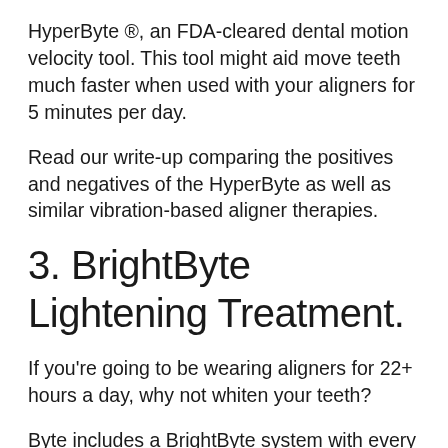HyperByte ®, an FDA-cleared dental motion velocity tool. This tool might aid move teeth much faster when used with your aligners for 5 minutes per day.
Read our write-up comparing the positives and negatives of the HyperByte as well as similar vibration-based aligner therapies.
3. BrightByte Lightening Treatment.
If you're going to be wearing aligners for 22+ hours a day, why not whiten your teeth?
Byte includes a BrightByte system with every therapy strategy. It is a 3-in-1 foam